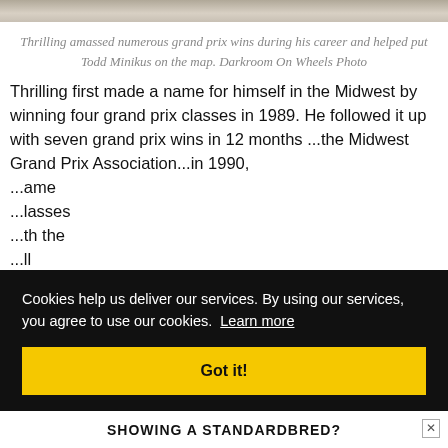[Figure (photo): Top strip showing a partial photo of a horse and trailer/vehicle]
Thrilling amassed numerous grand prix wins during his career and helped put Todd Minikus on the map. Darkroom On Wheels Photo
Thrilling first made a name for himself in the Midwest by winning four grand prix classes in 1989. He followed it up with seven grand prix wins in 12 months ...the Midwest Grand Prix Association...in 1990, ...ame ...lasses ...th the ...ll
Cookies help us deliver our services. By using our services, you agree to use our cookies. Learn more
Got it!
SHOWING A STANDARDBRED?